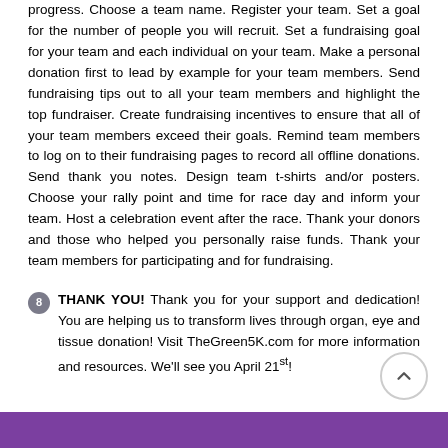progress. Choose a team name. Register your team. Set a goal for the number of people you will recruit. Set a fundraising goal for your team and each individual on your team. Make a personal donation first to lead by example for your team members. Send fundraising tips out to all your team members and highlight the top fundraiser. Create fundraising incentives to ensure that all of your team members exceed their goals. Remind team members to log on to their fundraising pages to record all offline donations. Send thank you notes. Design team t-shirts and/or posters. Choose your rally point and time for race day and inform your team. Host a celebration event after the race. Thank your donors and those who helped you personally raise funds. Thank your team members for participating and for fundraising.
8 THANK YOU! Thank you for your support and dedication! You are helping us to transform lives through organ, eye and tissue donation! Visit TheGreen5K.com for more information and resources. We'll see you April 21st!